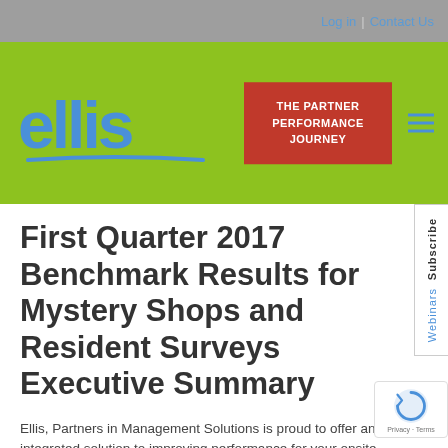Log in | Contact Us
[Figure (logo): Ellis Partners in Management Solutions logo — blue 'ellis' text with blue underline arc on green background, with red 'THE PARTNER PERFORMANCE JOURNEY' button and hamburger menu icon]
First Quarter 2017 Benchmark Results for Mystery Shops and Resident Surveys Executive Summary
Ellis, Partners in Management Solutions is proud to offer an integrated solution to improving performance for your onsite teams, increasing lead conversion and resident retention. For years, we have been assisting apartment management companies and owners to achieve their business goals. Our